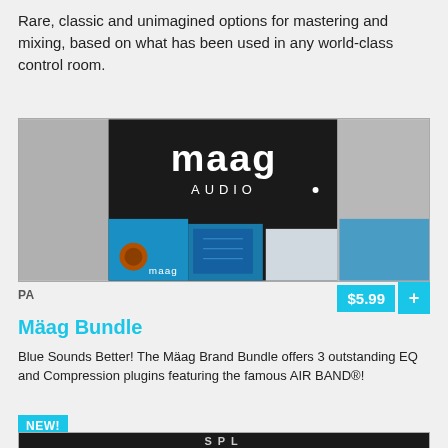Rare, classic and unimagined options for mastering and mixing, based on what has been used in any world-class control room.
[Figure (photo): Product image of Maag Audio equipment boxes/hardware with blue circuit board elements and Maag Audio logo visible.]
PA
$5.99
Mäag Bundle
Blue Sounds Better! The Mäag Brand Bundle offers 3 outstanding EQ and Compression plugins featuring the famous AIR BAND®!
NEW!
[Figure (photo): Bottom portion of another product image, showing dark background with partial text/logo visible.]